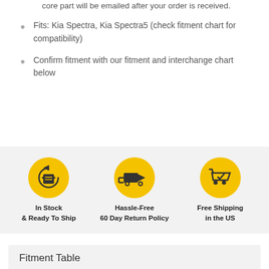core part will be emailed after your order is received.
Fits: Kia Spectra, Kia Spectra5 (check fitment chart for compatibility)
Confirm fitment with our fitment and interchange chart below
[Figure (infographic): Three circular yellow icons with labels: In Stock & Ready To Ship, Hassle-Free 60 Day Return Policy, Free Shipping in the US]
Fitment Table